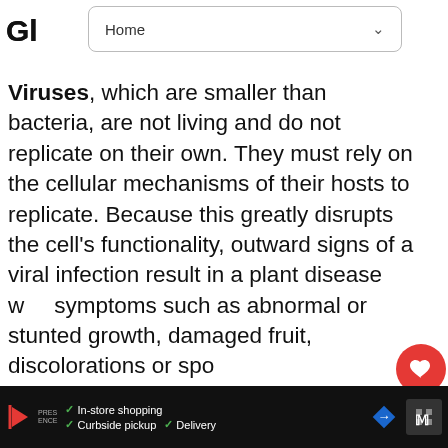Home
Glossary: Viruses
Viruses, which are smaller than bacteria, are not living and do not replicate on their own. They must rely on the cellular mechanisms of their hosts to replicate. Because this greatly disrupts the cell's functionality, outward signs of a viral infection result in a plant disease with symptoms such as abnormal or stunted growth, damaged fruit, discolorations or spo...
[Figure (screenshot): Partial advertisement for Indeed featuring the Indeed logo on a light blue background with geometric lines and partial text 'Indeed Instant Match']
[Figure (screenshot): What's Next panel showing a circular thumbnail of green plant (Sweet Woodruff) with label 'WHAT'S NEXT' and title 'Sweet Woodruff,...']
In-store shopping   Curbside pickup   Delivery  (advertisement bottom bar)